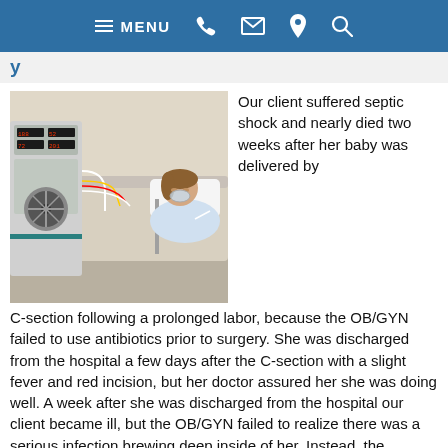MENU [phone] [mail] [location] [search]
[Figure (photo): Woman patient lying in a hospital bed connected to medical equipment and IV lines, with a ventilator/dialysis machine visible beside her.]
Our client suffered septic shock and nearly died two weeks after her baby was delivered by C-section following a prolonged labor, because the OB/GYN failed to use antibiotics prior to surgery. She was discharged from the hospital a few days after the C-section with a slight fever and red incision, but her doctor assured her she was doing well. A week after she was discharged from the hospital our client became ill, but the OB/GYN failed to realize there was a serious infection brewing deep inside of her. Instead, the defendant doctor prescribed a general antibiotic for what he believed was a "superficial